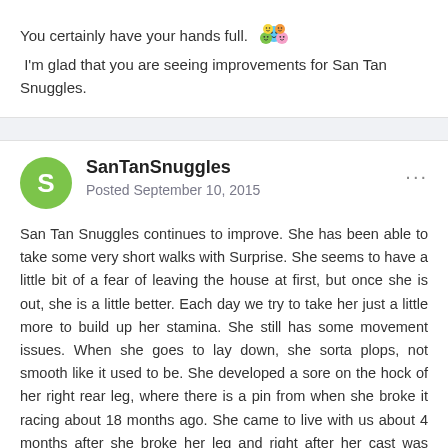You certainly have your hands full. [emoji] I'm glad that you are seeing improvements for San Tan Snuggles.
SanTanSnuggles
Posted September 10, 2015
San Tan Snuggles continues to improve. She has been able to take some very short walks with Surprise. She seems to have a little bit of a fear of leaving the house at first, but once she is out, she is a little better. Each day we try to take her just a little more to build up her stamina. She still has some movement issues. When she goes to lay down, she sorta plops, not smooth like it used to be. She developed a sore on the hock of her right rear leg, where there is a pin from when she broke it racing about 18 months ago. She came to live with us about 4 months after she broke her leg and right after her cast was removed. It was doing really good. We have all but one entrance with ramps to the house, so she does not have to jump or go down or up steps. She only has one step to do, if we leave the house. She